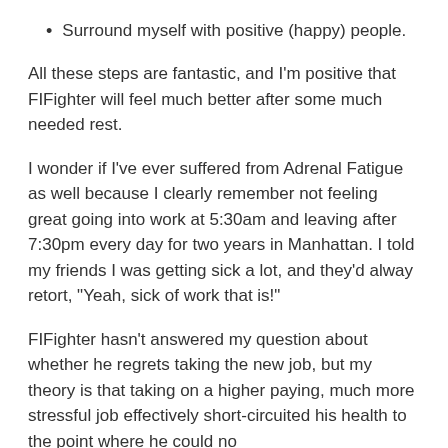Surround myself with positive (happy) people.
All these steps are fantastic, and I'm positive that FIFighter will feel much better after some much needed rest.
I wonder if I've ever suffered from Adrenal Fatigue as well because I clearly remember not feeling great going into work at 5:30am and leaving after 7:30pm every day for two years in Manhattan. I told my friends I was getting sick a lot, and they'd alway retort, "Yeah, sick of work that is!"
FIFighter hasn't answered my question about whether he regrets taking the new job, but my theory is that taking on a higher paying, much more stressful job effectively short-circuited his health to the point where he could no